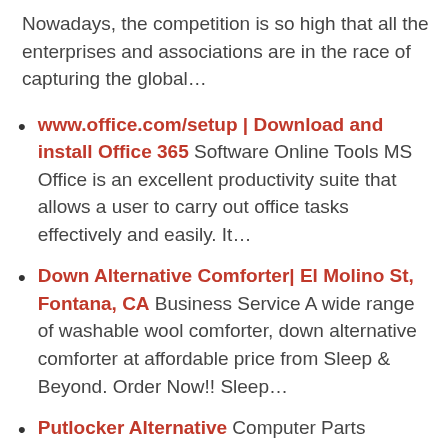Nowadays, the competition is so high that all the enterprises and associations are in the race of capturing the global…
www.office.com/setup | Download and install Office 365 Software Online Tools MS Office is an excellent productivity suite that allows a user to carry out office tasks effectively and easily. It…
Down Alternative Comforter| El Molino St, Fontana, CA Business Service A wide range of washable wool comforter, down alternative comforter at affordable price from Sleep & Beyond. Order Now!! Sleep…
Putlocker Alternative Computer Parts Products Our powerful rating engine…